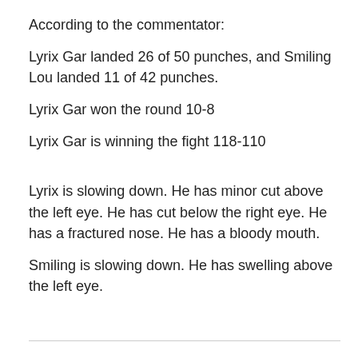According to the commentator:
Lyrix Gar landed 26 of 50 punches, and Smiling Lou landed 11 of 42 punches.
Lyrix Gar won the round 10-8
Lyrix Gar is winning the fight 118-110
Lyrix is slowing down. He has minor cut above the left eye. He has cut below the right eye. He has a fractured nose. He has a bloody mouth.
Smiling is slowing down. He has swelling above the left eye.